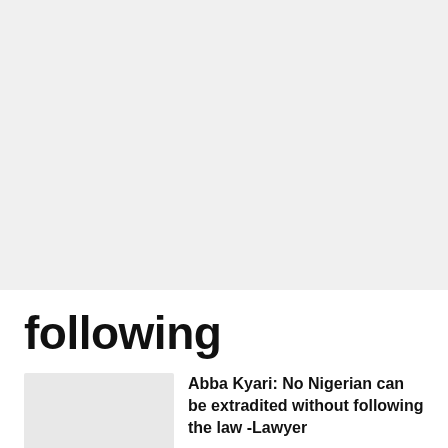[Figure (other): Gray placeholder image area at top of page]
following
[Figure (photo): Small article thumbnail image placeholder]
Abba Kyari: No Nigerian can be extradited without following the law -Lawyer
March 7, 2022   Favour Lashem